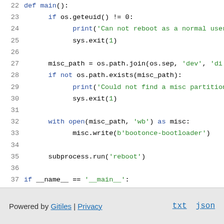[Figure (screenshot): Python source code viewer showing lines 22-38 of a script with syntax highlighting. Blue keywords and green strings on white background.]
Powered by Gitiles | Privacy   txt  json